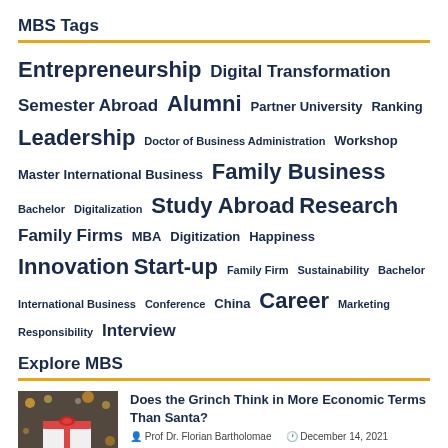MBS Tags
Entrepreneurship Digital Transformation Semester Abroad Alumni Partner University Ranking Leadership Doctor of Business Administration Workshop Master International Business Family Business Bachelor Digitalization Study Abroad Research Family Firms MBA Digitization Happiness Innovation Start-up Family Firm Sustainability Bachelor International Business Conference China Career Marketing Responsibility Interview
Explore MBS
[Figure (photo): Christmas gift box with red bow and bokeh lights in background]
Does the Grinch Think in More Economic Terms Than Santa?
Prof Dr. Florian Bartholomae  December 14, 2021
[Figure (photo): Partially visible second article image at bottom]